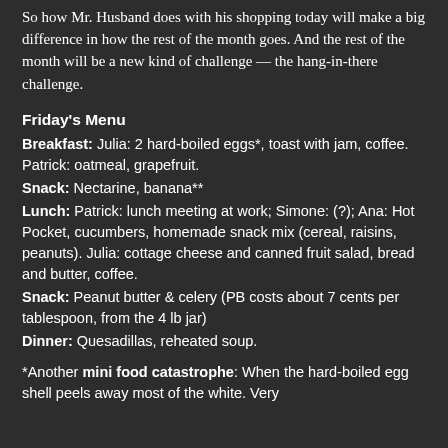So how Mr. Husband does with his shopping today will make a big difference in how the rest of the month goes. And the rest of the month will be a new kind of challenge — the hang-in-there challenge.
Friday's Menu
Breakfast: Julia: 2 hard-boiled eggs*, toast with jam, coffee. Patrick: oatmeal, grapefruit.
Snack: Nectarine, banana**
Lunch: Patrick: lunch meeting at work; Simone: (?); Ana: Hot Pocket, cucumbers, homemade snack mix (cereal, raisins, peanuts). Julia: cottage cheese and canned fruit salad, bread and butter, coffee.
Snack: Peanut butter & celery (PB costs about 7 cents per tablespoon, from the 4 lb jar)
Dinner: Quesadillas, reheated soup.
*Another mini food catastrophe: When the hard-boiled egg shell peels away most of the white. Very